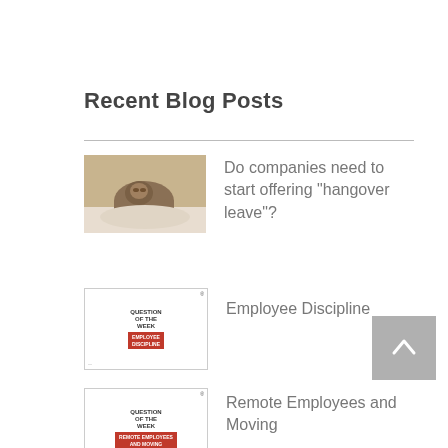Recent Blog Posts
[Figure (photo): Photo of a sloth lying on a surface]
Do companies need to start offering "hangover leave"?
[Figure (other): Question of the Week: Employee Discipline badge]
Employee Discipline
[Figure (other): Question of the Week: Remote Employees and Moving badge]
Remote Employees and Moving